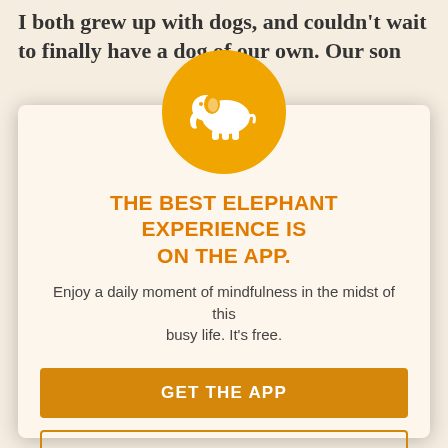I both grew up with dogs, and couldn't wait to finally have a dog of our own. Our son was ecstatic as well.
Every boy (and girl!) should have grown up with a dog.
[Figure (logo): Elephant Journal app logo: white elephant silhouette on an orange circle]
THE BEST ELEPHANT EXPERIENCE IS ON THE APP.
Enjoy a daily moment of mindfulness in the midst of this busy life. It's free.
GET THE APP
OPEN IN APP